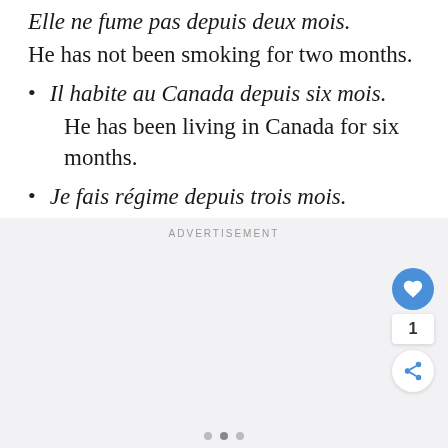Elle ne fume pas depuis deux mois.
He has not been smoking for two months.
Il habite au Canada depuis six mois.
He has been living in Canada for six months.
Je fais régime depuis trois mois.
I have been dieting for three months.
ADVERTISEMENT